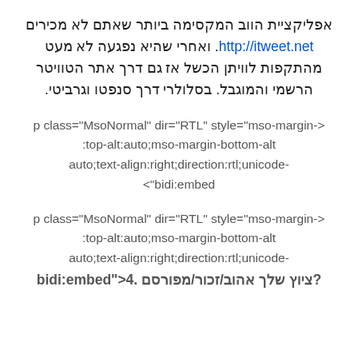אפליקציית הווב המקסימה ביותר שאתם לא מכירים http://itweet.net. ואחרי שהיא נפגעה לא מעט מהתקפות לוויתן הכשל אז גם דרך אתר הטוויטר הרשמי והמוגבל. בסלולרי דרך סנפטו וגרביטי.
p class="MsoNormal" dir="RTL" style="mso-margin->:top-alt:auto;mso-margin-bottom-alt auto;text-align:right;direction:rtl;unicode-<"bidi:embed
p class="MsoNormal" dir="RTL" style="mso-margin->:top-alt:auto;mso-margin-bottom-alt auto;text-align:right;direction:rtl;unicode-bidi:embed">4. ציוץ שלך אהוב/זכור/מפורסם?